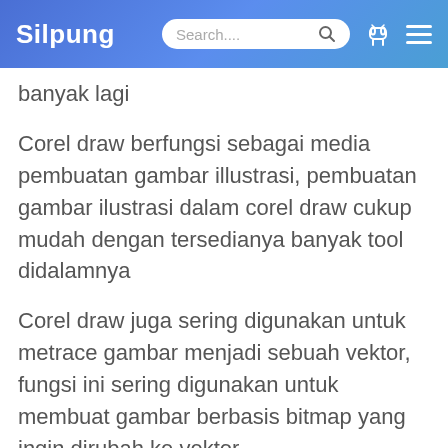Silpung
banyak lagi
Corel draw berfungsi sebagai media pembuatan gambar illustrasi, pembuatan gambar ilustrasi dalam corel draw cukup mudah dengan tersedianya banyak tool didalamnya
Corel draw juga sering digunakan untuk metrace gambar menjadi sebuah vektor, fungsi ini sering digunakan untuk membuat gambar berbasis bitmap yang ingin dirubah ke vektor.
Dari sekian banyak fungsi dari corel draw, ada yang dinamakan toolbox yaitu kumpulan tools dari aplikasi corel draw yang mempunyai fungsi tersendiri setiap